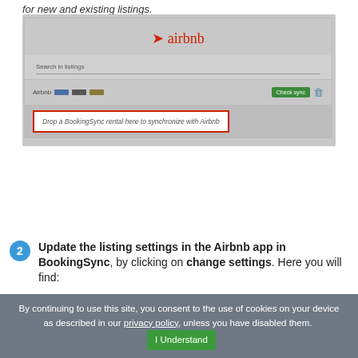for new and existing listings.
[Figure (screenshot): Screenshot of Airbnb interface in BookingSync showing the Airbnb logo at top, a search listings bar, an Airbnb listing row with colored badges and a green 'Check sync' button with a trash icon, and a drop zone highlighted with a red border reading 'Drop a BookingSync rental here to synchronize with Airbnb']
2 Update the listing settings in the Airbnb app in BookingSync, by clicking on change settings. Here you will find:
By continuing to use this site, you consent to the use of cookies on your device as described in our privacy policy, unless you have disabled them.  I Understand